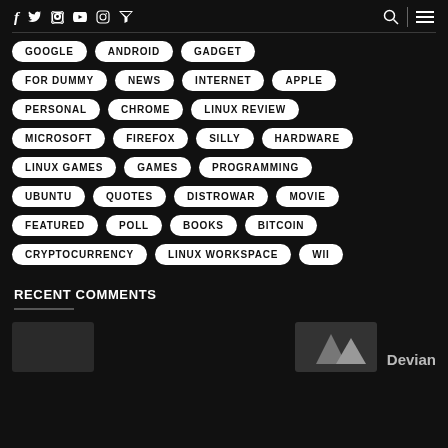f  Twitter  in  YouTube  Instagram  RSS  [search]  [menu]
GOOGLE
ANDROID
GADGET
FOR DUMMY
NEWS
INTERNET
APPLE
PERSONAL
CHROME
LINUX REVIEW
MICROSOFT
FIREFOX
SILLY
HARDWARE
LINUX GAMES
GAMES
PROGRAMMING
UBUNTU
QUOTES
DISTROWAR
MOVIE
FEATURED
POLL
BOOKS
BITCOIN
CRYPTOCURRENCY
LINUX WORKSPACE
WII
RECENT COMMENTS
Devian